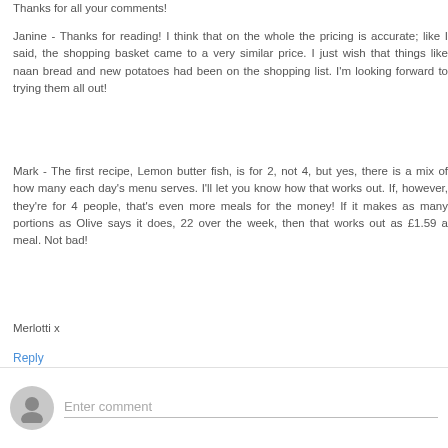Thanks for all your comments!
Janine - Thanks for reading! I think that on the whole the pricing is accurate; like I said, the shopping basket came to a very similar price. I just wish that things like naan bread and new potatoes had been on the shopping list. I'm looking forward to trying them all out!
Mark - The first recipe, Lemon butter fish, is for 2, not 4, but yes, there is a mix of how many each day's menu serves. I'll let you know how that works out. If, however, they're for 4 people, that's even more meals for the money! If it makes as many portions as Olive says it does, 22 over the week, then that works out as £1.59 a meal. Not bad!
Merlotti x
Reply
[Figure (other): User avatar placeholder icon for comment input area]
Enter comment